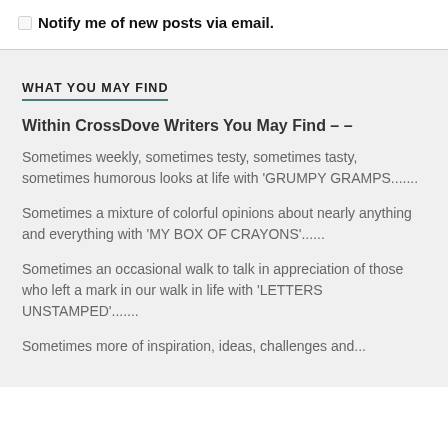Notify me of new posts via email.
WHAT YOU MAY FIND
Within CrossDove Writers You May Find – –
Sometimes weekly, sometimes testy, sometimes tasty, sometimes humorous looks at life with 'GRUMPY GRAMPS.......
Sometimes a mixture of colorful opinions about nearly anything and everything with 'MY BOX OF CRAYONS'......
Sometimes an occasional walk to talk in appreciation of those who left a mark in our walk in life with 'LETTERS UNSTAMPED'.......
Sometimes more of inspiration, ideas, challenges and...